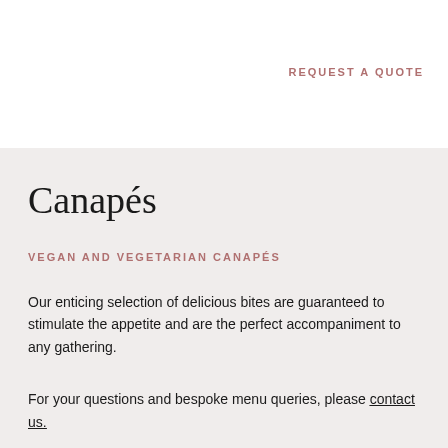REQUEST A QUOTE
Canapés
VEGAN AND VEGETARIAN CANAPÉS
Our enticing selection of delicious bites are guaranteed to stimulate the appetite and are the perfect accompaniment to any gathering.
For your questions and bespoke menu queries, please contact us.